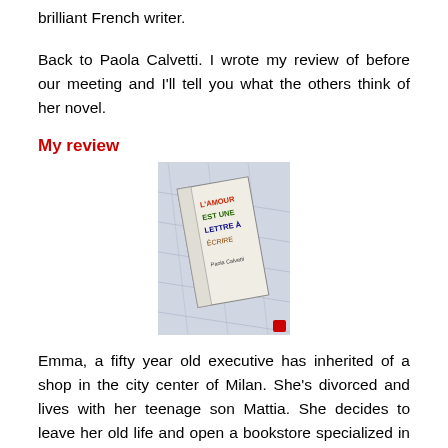brilliant French writer.
Back to Paola Calvetti. I wrote my review of before our meeting and I'll tell you what the others think of her novel.
My review
[Figure (photo): Book cover of a novel with colorful letters on the spine, placed on a light surface]
Emma, a fifty year old executive has inherited of a shop in the city center of Milan. She's divorced and lives with her teenage son Mattia. She decides to leave her old life and open a bookstore specialized in love stories. It's named Rêves et Sortilèges in French (Dreams and Charms) One day, she gets in touch with her high school sweetheart